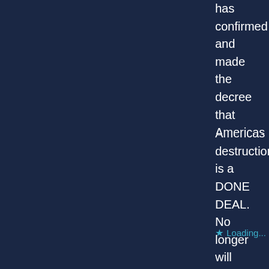has confirmed and made the decree that Americas destruction is a DONE DEAL. No longer will prayer be heard by God for this nation BUT prayer WILL be heard by God for SOULS!!! SOUND THE DECREE!!!
Loading...
[Figure (illustration): Circular avatar with green and white geometric/checker pattern with diamond shapes]
MARTY says: May 8, 2021 at 4:58 pm
It seems that many Bible verses have at least two layers of meaning. For example, Mystery Babylon is a country as well as personified as a person. The